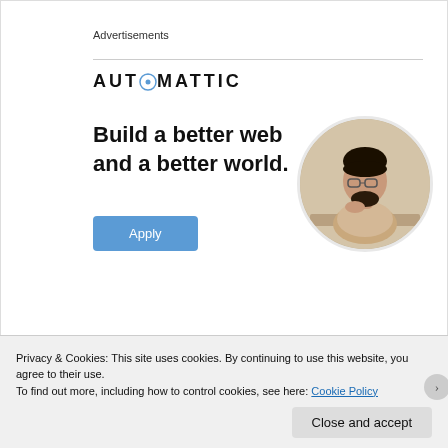Advertisements
[Figure (logo): Automattic logo with stylized compass O icon and bold wide-spaced letters]
[Figure (infographic): Automattic advertisement: 'Build a better web and a better world.' with Apply button and circular photo of a man thinking at a desk]
REPORT THIS AD
Privacy & Cookies: This site uses cookies. By continuing to use this website, you agree to their use.
To find out more, including how to control cookies, see here: Cookie Policy
Close and accept